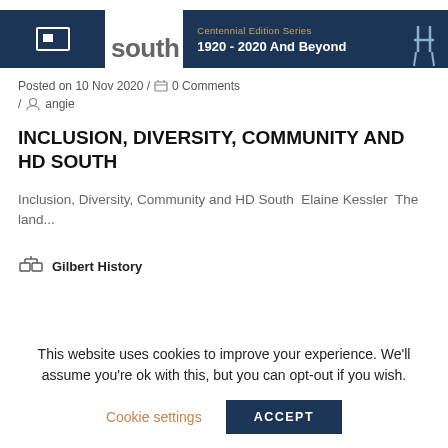[Figure (screenshot): Top banner with blue HD South logo box and 'Centennial Edition Series 1920 - 2020 And Beyond' banner with chair icon, partial 'South' text visible]
Posted on 10 Nov 2020 / 0 Comments / angie
INCLUSION, DIVERSITY, COMMUNITY AND HD SOUTH
Inclusion, Diversity, Community and HD South  Elaine Kessler  The land...
Gilbert History
This website uses cookies to improve your experience. We'll assume you're ok with this, but you can opt-out if you wish. Cookie settings ACCEPT